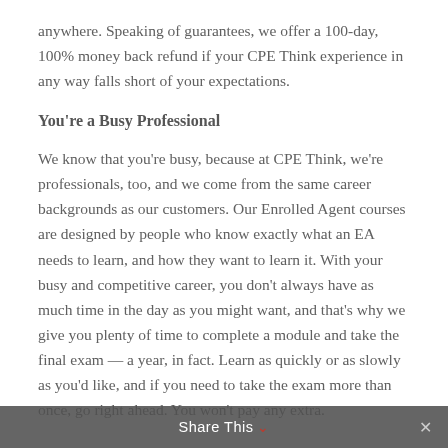anywhere. Speaking of guarantees, we offer a 100-day, 100% money back refund if your CPE Think experience in any way falls short of your expectations.
You're a Busy Professional
We know that you're busy, because at CPE Think, we're professionals, too, and we come from the same career backgrounds as our customers. Our Enrolled Agent courses are designed by people who know exactly what an EA needs to learn, and how they want to learn it. With your busy and competitive career, you don't always have as much time in the day as you might want, and that's why we give you plenty of time to complete a module and take the final exam — a year, in fact. Learn as quickly or as slowly as you'd like, and if you need to take the exam more than once, go right ahead. You won't pay any extra.
Taking Enrolled Agent courses at CPEThink.com is as streamlined as can be. Our site is fast, and it won't crash, because we use mirrored servers. You'll never lose your
Share This ↓  ✕